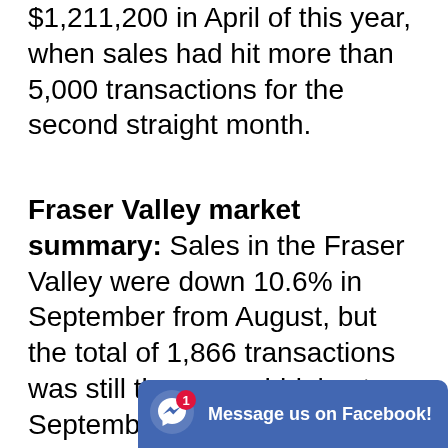$1,211,200 in April of this year, when sales had hit more than 5,000 transactions for the second straight month.
Fraser Valley market summary:
Sales in the Fraser Valley were down 10.6% in September from August, but the total of 1,866 transactions was still the second-highest September in the Fraser Valley Real Estate Board's 100-year history. September, however, ended with a total active inventory of 3,812 homes, down 48.3% compared to September 2...